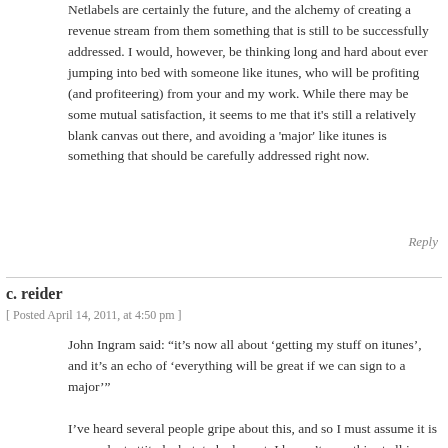Netlabels are certainly the future, and the alchemy of creating a revenue stream from them something that is still to be successfully addressed. I would, however, be thinking long and hard about ever jumping into bed with someone like itunes, who will be profiting (and profiteering) from your and my work. While there may be some mutual satisfaction, it seems to me that it's still a relatively blank canvas out there, and avoiding a 'major' like itunes is something that should be carefully addressed right now.
Reply
c. reider
[ Posted April 14, 2011, at 4:50 pm ]
John Ingram said: “it’s now all about ‘getting my stuff on itunes’, and it’s an echo of ‘everything will be great if we can sign to a major’”
I’ve heard several people gripe about this, and so I must assume it is a prevalent attitude, but, to be honest, I haven’t seen this at all in recent netlabel culture. It may just be the circle I’ve been running with, but from my point of view netartists & labels are pretty firmly